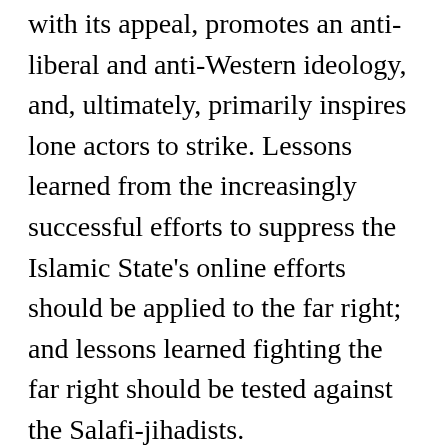with its appeal, promotes an anti-liberal and anti-Western ideology, and, ultimately, primarily inspires lone actors to strike. Lessons learned from the increasingly successful efforts to suppress the Islamic State's online efforts should be applied to the far right; and lessons learned fighting the far right should be tested against the Salafi-jihadists.
Escalating domestic terrorism, clearly, is an urgent problem. That does not mean it is an undefeatable one.